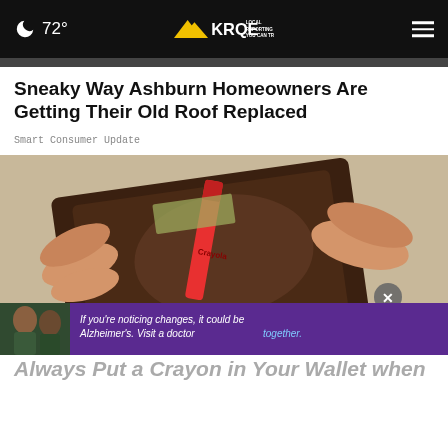72° KRQE LOCAL REPORTING YOU CAN TRUST
Sneaky Way Ashburn Homeowners Are Getting Their Old Roof Replaced
Smart Consumer Update
[Figure (photo): Close-up of hands opening an empty wallet with a red Crayola crayon inside]
If you're noticing changes, it could be Alzheimer's. Visit a doctor together.
Always Put a Crayon in Your Wallet when